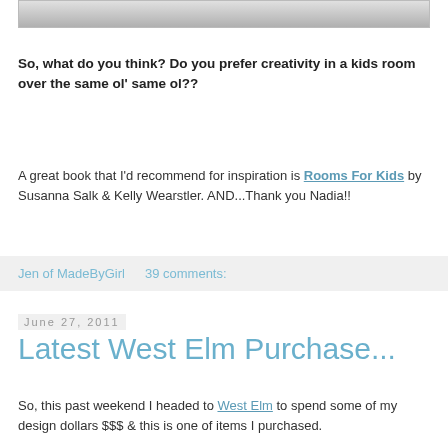[Figure (photo): Partial photo strip at top of page, light gray/white colors]
So, what do you think? Do you prefer creativity in a kids room over the same ol' same ol??
A great book that I'd recommend for inspiration is Rooms For Kids by Susanna Salk & Kelly Wearstler. AND...Thank you Nadia!!
Jen of MadeByGirl    39 comments:
June 27, 2011
Latest West Elm Purchase...
So, this past weekend I headed to West Elm to spend some of my design dollars $$$ & this is one of items I purchased.